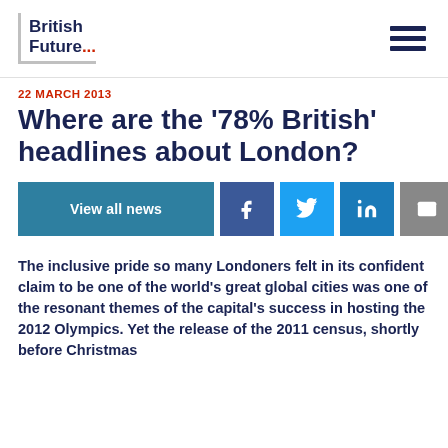British Future...
22 MARCH 2013
Where are the '78% British' headlines about London?
View all news | social share buttons: Facebook, Twitter, LinkedIn, Email, Link
The inclusive pride so many Londoners felt in its confident claim to be one of the world's great global cities was one of the resonant themes of the capital's success in hosting the 2012 Olympics. Yet the release of the 2011 census, shortly before Christmas